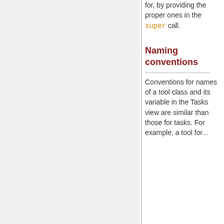for, by providing the proper ones in the super call.
Naming conventions
Conventions for names of a tool class and its variable in the Tasks view are similar than those for tasks. For example, a tool for...